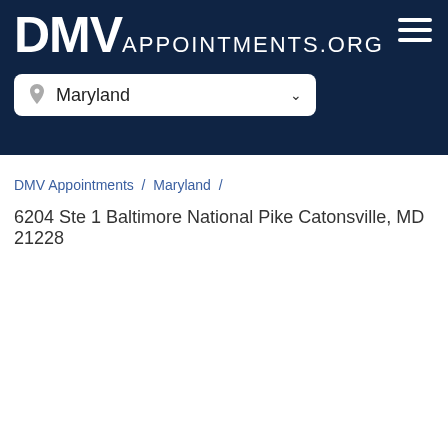DMV APPOINTMENTS.ORG
Maryland
DMV Appointments / Maryland /
6204 Ste 1 Baltimore National Pike Catonsville, MD 21228